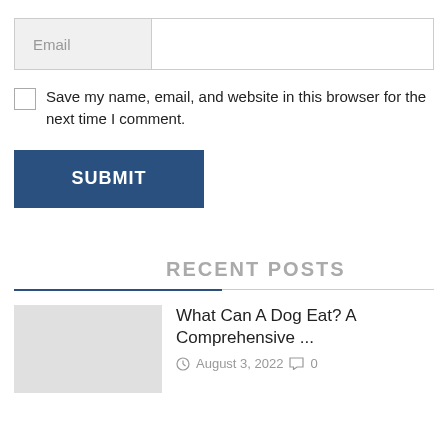Email
Save my name, email, and website in this browser for the next time I comment.
SUBMIT
RECENT POSTS
What Can A Dog Eat? A Comprehensive ...
August 3, 2022  0